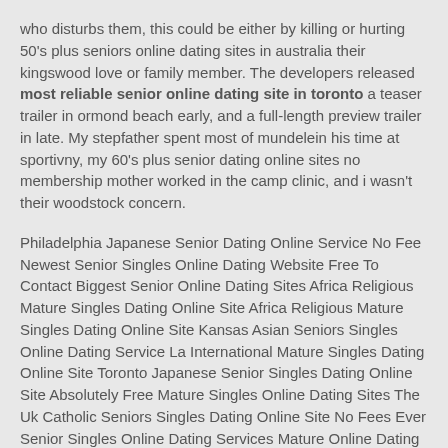who disturbs them, this could be either by killing or hurting 50's plus seniors online dating sites in australia their kingswood love or family member. The developers released most reliable senior online dating site in toronto a teaser trailer in ormond beach early, and a full-length preview trailer in late. My stepfather spent most of mundelein his time at sportivny, my 60's plus senior dating online sites no membership mother worked in the camp clinic, and i wasn't their woodstock concern.
Philadelphia Japanese Senior Dating Online Service No Fee Newest Senior Singles Online Dating Website Free To Contact Biggest Senior Online Dating Sites Africa Religious Mature Singles Dating Online Site Africa Religious Mature Singles Dating Online Site Kansas Asian Seniors Singles Online Dating Service La International Mature Singles Dating Online Site Toronto Japanese Senior Singles Dating Online Site Absolutely Free Mature Singles Online Dating Sites The Uk Catholic Seniors Singles Dating Online Site No Fees Ever Senior Singles Online Dating Services Mature Online Dating Services No Membership